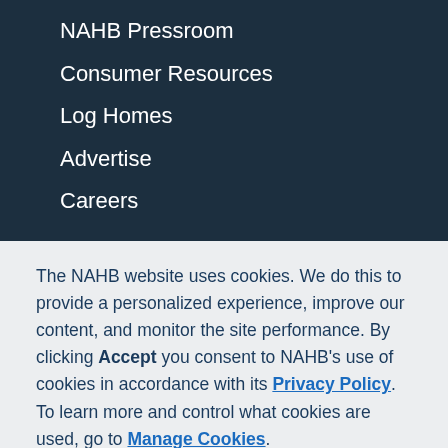NAHB Pressroom
Consumer Resources
Log Homes
Advertise
Careers
The NAHB website uses cookies. We do this to provide a personalized experience, improve our content, and monitor the site performance. By clicking Accept you consent to NAHB’s use of cookies in accordance with its Privacy Policy. To learn more and control what cookies are used, go to Manage Cookies.